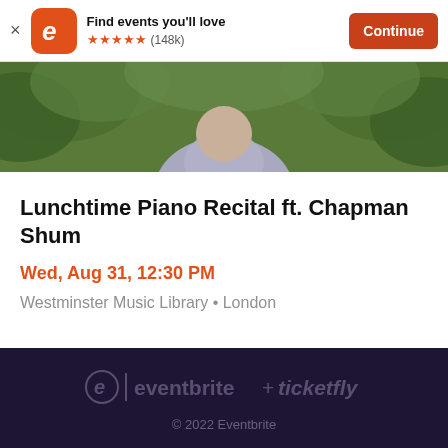Find events you'll love ★★★★★ (148k) Continue
[Figure (photo): Photo of a person in a light blue/grey button-up shirt standing outdoors among green foliage]
Lunchtime Piano Recital ft. Chapman Shum
Wed, Aug 31, 12:30 PM
Westminster Music Library • London
eventbrite + ticketfly © 2022 Eventbrite